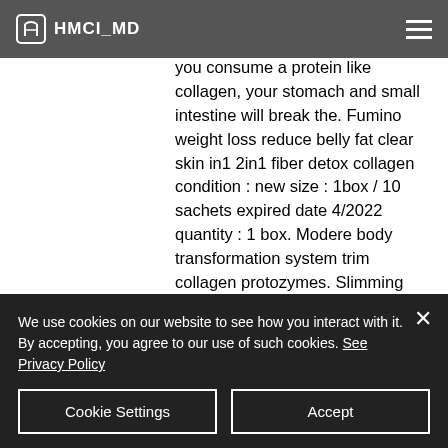HMCI_MD
This process leads to burning more fat than keeping it. When you consume a protein like collagen, your stomach and small intestine will break the. Fumino weight loss reduce belly fat clear skin in1 2in1 fiber detox collagen condition : new size : 1box / 10 sachets expired date 4/2022 quantity : 1 box. Modere body transformation system trim collagen protozymes. Slimming cream weight loss anti-cellulite belly fat hot burning shaping six pack. (for you organ meats newbies, tripe is the first or second stomach of a cow or other ruminant used as food. It's loaded with collagen!). Show in the form of stretch marks, especially on the stomach
We use cookies on our website to see how you interact with it. By accepting, you agree to our use of such cookies. See Privacy Policy
Cookie Settings
Accept